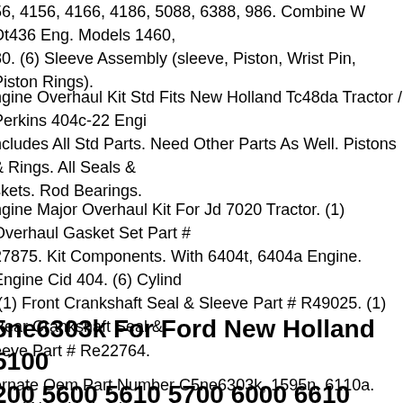56, 4156, 4166, 4186, 5088, 6388, 986. Combine W Dt436 Eng. Models 1460, 80. (6) Sleeve Assembly (sleeve, Piston, Wrist Pin, Piston Rings).
ngine Overhaul Kit Std Fits New Holland Tc48da Tractor / Perkins 404c-22 Engine. Includes All Std Parts. Need Other Parts As Well. Pistons & Rings. All Seals & Gaskets. Rod Bearings.
ngine Major Overhaul Kit For Jd 7020 Tractor. (1) Overhaul Gasket Set Part # 27875. Kit Components. With 6404t, 6404a Engine. Engine Cid 404. (6) Cylinders. (1) Front Crankshaft Seal & Sleeve Part # R49025. (1) Rear Crankshaft Seal & Sleeve Part # Re22764.
5ne6303k For Ford New Holland 5100 5200 5600 5610 5700 6000 6610 Cranksha
lternate Oem Part Number C5ne6303k, 1595n, 6110a. Ford New Holland. Snou Bolt Hole, 1 Keyway With Right Hand Helix Balance Drive Gear Installed. We